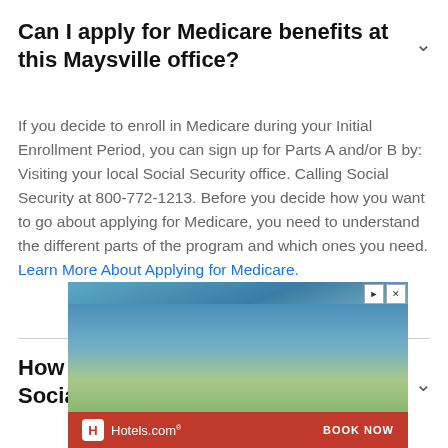Can I apply for Medicare benefits at this Maysville office?
If you decide to enroll in Medicare during your Initial Enrollment Period, you can sign up for Parts A and/or B by: Visiting your local Social Security office. Calling Social Security at 800-772-1213. Before you decide how you want to go about applying for Medicare, you need to understand the different parts of the program and which ones you need. Learn More About Applying for Medicare.
How do I change my name on my Social Security card in Maysville?
[Figure (screenshot): Hotels.com advertisement banner with beach/vacation scene and BOOK NOW call to action]